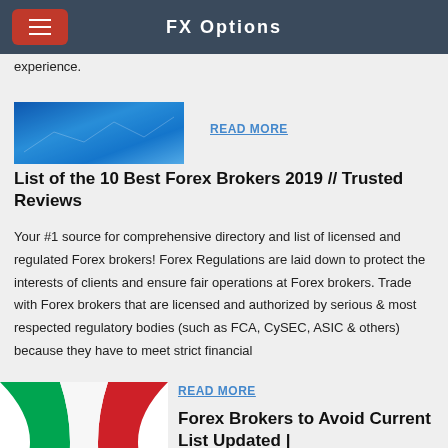FX Options
experience.
[Figure (photo): Abstract blue financial/forex themed image]
READ MORE
List of the 10 Best Forex Brokers 2019 // Trusted Reviews
Your #1 source for comprehensive directory and list of licensed and regulated Forex brokers! Forex Regulations are laid down to protect the interests of clients and ensure fair operations at Forex brokers. Trade with Forex brokers that are licensed and authorized by serious & most respected regulatory bodies (such as FCA, CySEC, ASIC & others) because they have to meet strict financial
[Figure (illustration): Italian flag graphic with green, white and red curved stripes]
READ MORE
Forex Brokers to Avoid Current List Updated |